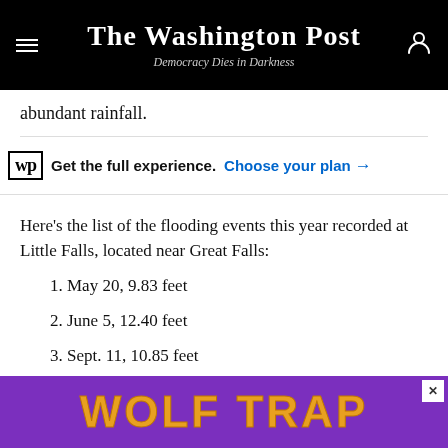The Washington Post — Democracy Dies in Darkness
abundant rainfall.
wp  Get the full experience.  Choose your plan →
Here's the list of the flooding events this year recorded at Little Falls, located near Great Falls:
1. May 20, 9.83 feet
2. June 5, 12.40 feet
3. Sept. 11, 10.85 feet
4. Sept. 29, 11.01 feet
[Figure (other): Wolf Trap advertisement banner in purple with orange text]